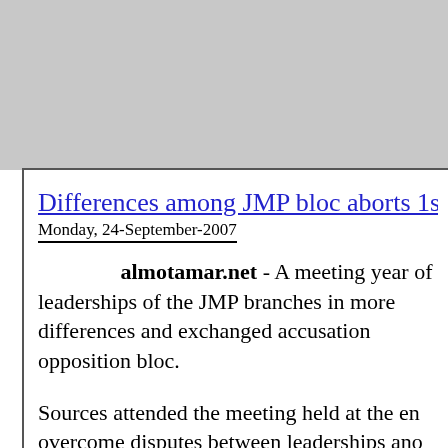[Figure (other): Gray banner/advertisement area at top of page]
Differences among JMP bloc aborts 1st me
Monday, 24-September-2007
almotamar.net - A meeting year of leaderships of the JMP branches in more differences and exchanged accusation opposition bloc.
Sources attended the meeting held at the en overcome disputes between leaderships ano members in Amran governorate said the dif from the descriptions of the leadership of the JMP